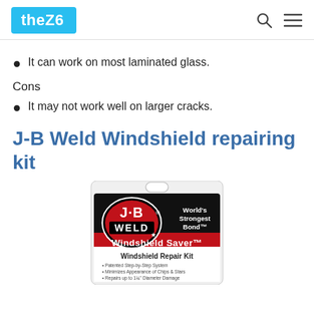theZ6
It can work on most laminated glass.
Cons
It may not work well on larger cracks.
J-B Weld Windshield repairing kit
[Figure (photo): J-B Weld Windshield Saver Windshield Repair Kit product packaging showing 'World's Strongest Bond' branding]